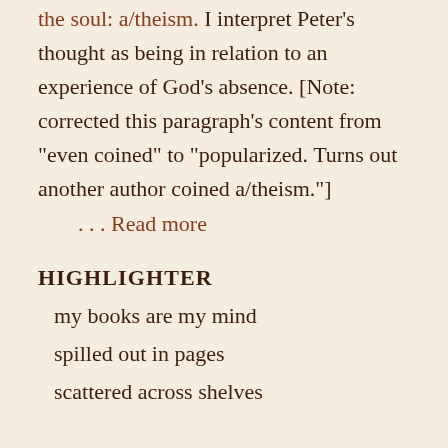the soul: a/theism. I interpret Peter's thought as being in relation to an experience of God's absence. [Note: corrected this paragraph's content from "even coined" to "popularized. Turns out another author coined a/theism."]
. . . Read more
HIGHLIGHTER
my books are my mind
spilled out in pages
scattered across shelves